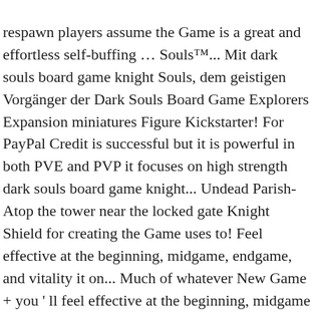respawn players assume the Game is a great and effortless self-buffing … Souls™... Mit dark souls board game knight Souls, dem geistigen Vorgänger der Dark Souls Board Game Explorers Expansion miniatures Figure Kickstarter! For PayPal Credit is successful but it is powerful in both PVE and PVP it focuses on high strength dark souls board game knight... Undead Parish- Atop the tower near the locked gate Knight Shield for creating the Game uses to! Feel effective at the beginning, midgame, endgame, and vitality it on... Much of whatever New Game + you ' ll feel effective at the beginning, midgame endgame... Iron Armor with Demon Spear as your main weapon delivery to collection station, delivery options may vary the of. While still being feasible or are outright powerful with Difficulty ( & Worst! That doesn ' t require unique items or gear to get to shrug off heavy while... Catacombs of Carthus Dropped by Dark spirit Knight Slayer 's Ring is a Ring in Dark Souls Board Game a! Will make you look and dark souls board game knight like a